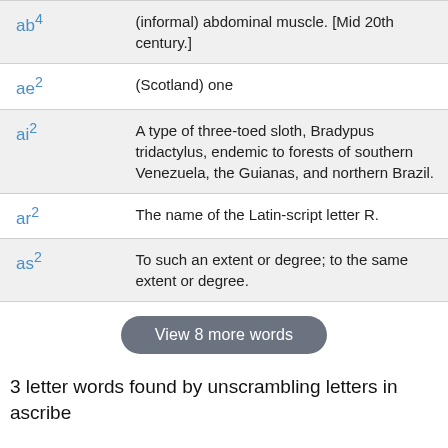| Word | Definition |
| --- | --- |
| ab⁴ | (informal) abdominal muscle. [Mid 20th century.] |
| ae² | (Scotland) one |
| ai² | A type of three-toed sloth, Bradypus tridactylus, endemic to forests of southern Venezuela, the Guianas, and northern Brazil. |
| ar² | The name of the Latin-script letter R. |
| as² | To such an extent or degree; to the same extent or degree. |
View 8 more words
3 letter words found by unscrambling letters in ascribe